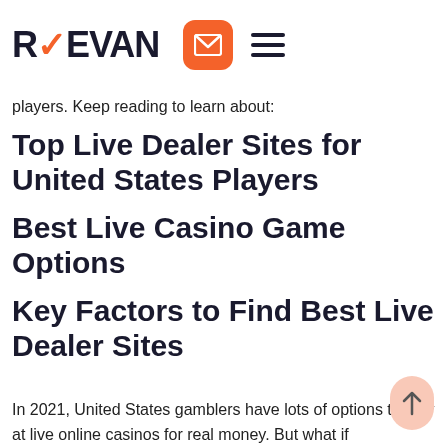REEVAN [logo with email icon and hamburger menu]
players. Keep reading to learn about:
Top Live Dealer Sites for United States Players
Best Live Casino Game Options
Key Factors to Find Best Live Dealer Sites
In 2021, United States gamblers have lots of options to play at live online casinos for real money. But what if